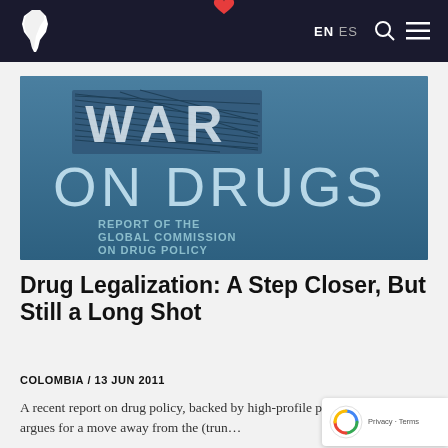EN ES
[Figure (photo): Book cover for 'War on Drugs: Report of the Global Commission on Drug Policy' — blue background with large white text reading 'WAR ON DRUGS' and subtitle 'REPORT OF THE GLOBAL COMMISSION ON DRUG POLICY']
Drug Legalization: A Step Closer, But Still a Long Shot
COLOMBIA / 13 JUN 2011
A recent report on drug policy, backed by high-profile political figures, argues for a move away from the (truncated)